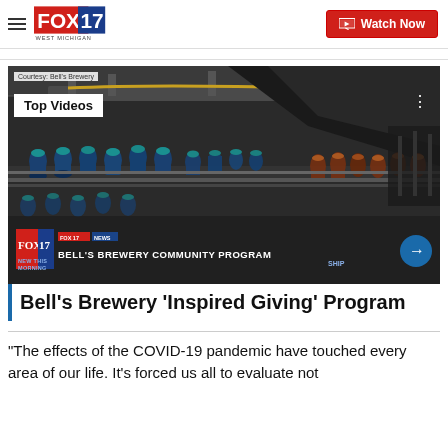FOX 17 WEST MICHIGAN — Watch Now
[Figure (screenshot): FOX 17 news segment screenshot showing Bell's Brewery bottling line with beer bottles on conveyor belt. Overlay bar at bottom reads 'BELL'S BREWERY COMMUNITY PROGRAM'. Badge shows 'NEW THIS MORNING'. Top-left badge says 'Courtesy Bell's Brewery'. White badge says 'Top Videos'.]
Bell's Brewery 'Inspired Giving' Program
"The effects of the COVID-19 pandemic have touched every area of our life. It's forced us all to evaluate not